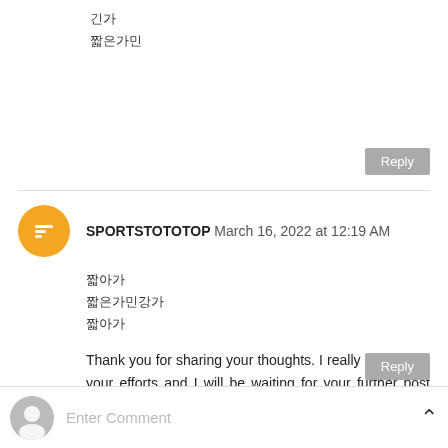긴가 
짧은가민
SPORTSTOTOTOP March 16, 2022 at 12:19 AM
짧아가 
짧은가민강가 
짧아가

Thank you for sharing your thoughts. I really appreciate your efforts and I will be waiting for your further post thank you once again.